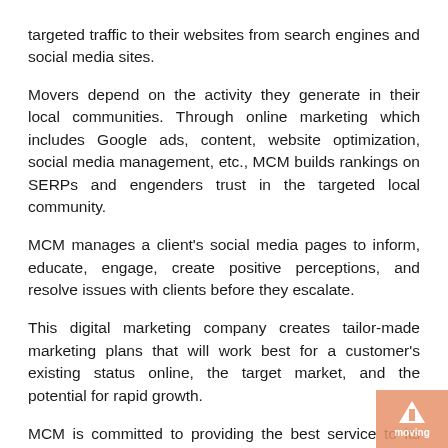targeted traffic to their websites from search engines and social media sites.
Movers depend on the activity they generate in their local communities. Through online marketing which includes Google ads, content, website optimization, social media management, etc., MCM builds rankings on SERPs and engenders trust in the targeted local community.
MCM manages a client's social media pages to inform, educate, engage, create positive perceptions, and resolve issues with clients before they escalate.
This digital marketing company creates tailor-made marketing plans that will work best for a customer's existing status online, the target market, and the potential for rapid growth.
MCM is committed to providing the best service to its customers, and to this end, it works with only one moving company per city. The many online review sharing platforms,